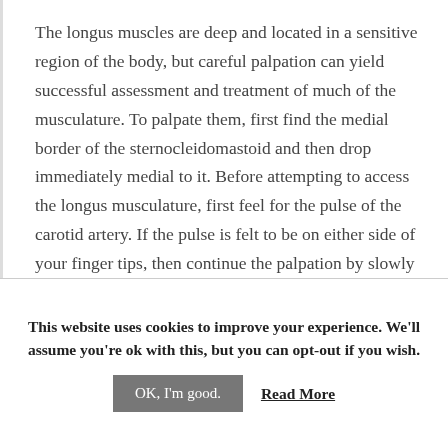The longus muscles are deep and located in a sensitive region of the body, but careful palpation can yield successful assessment and treatment of much of the musculature. To palpate them, first find the medial border of the sternocleidomastoid and then drop immediately medial to it. Before attempting to access the longus musculature, first feel for the pulse of the carotid artery. If the pulse is felt to be on either side of your finger tips, then continue the palpation by slowly and gently sinking in posteriorly toward the cervical spine. However, if the artery is felt to be directly in your
This website uses cookies to improve your experience. We'll assume you're ok with this, but you can opt-out if you wish.
OK, I'm good.   Read More